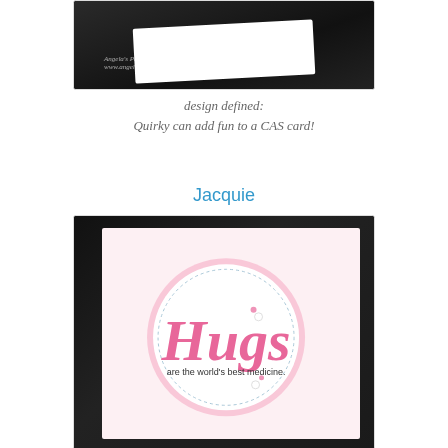[Figure (photo): Photo of a handmade card on dark background with Angela's Paper Designs watermark]
design defined:
Quirky can add fun to a CAS card!
Jacquie
[Figure (photo): Photo of a handmade card featuring a scalloped circle with pink 'Hugs are the world's best medicine' text and rhinestone embellishments on dark background]